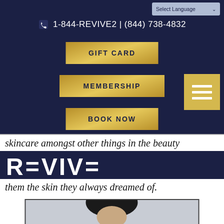Select Language
1-844-REVIVE2 | (844) 738-4832
GIFT CARD
MEMBERSHIP
BOOK NOW
skincare amongst other things in the beauty
[Figure (logo): REVIVE Aesthetics Wellness Weight Loss logo — white text on dark navy background]
them the skin they always dreamed of.
[Figure (photo): Portrait photo of a person with dark hair against a light gray background]